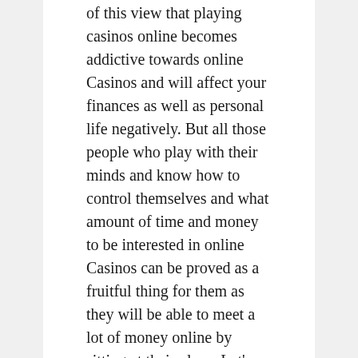of this view that playing casinos online becomes addictive towards online Casinos and will affect your finances as well as personal life negatively. But all those people who play with their minds and know how to control themselves and what amount of time and money to be interested in online Casinos can be proved as a fruitful thing for them as they will be able to meet a lot of money online by sitting at their place. Let's find out some of the things to consider and enjoy your online Casino or Blackjack games.
Betting safe
Among various things to consider one of the most important factors to be kept in mind while playing online Casinos is to practice safe betting if you want to earn money and do not want to bear any financial loss. To play safe you